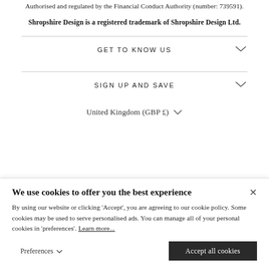Authorised and regulated by the Financial Conduct Authority (number: 739591).
Shropshire Design is a registered trademark of Shropshire Design Ltd.
GET TO KNOW US
SIGN UP AND SAVE
United Kingdom (GBP £)
We use cookies to offer you the best experience
By using our website or clicking 'Accept', you are agreeing to our cookie policy. Some cookies may be used to serve personalised ads. You can manage all of your personal cookies in 'preferences'. Learn more...
Preferences
Accept all cookies